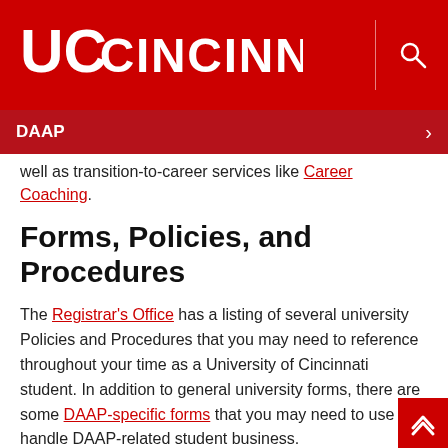UC Cincinnati | DAAP
well as transition-to-career services like Career Coaching.
Forms, Policies, and Procedures
The Registrar's Office has a listing of several university Policies and Procedures that you may need to reference throughout your time as a University of Cincinnati student. In addition to general university forms, there are some DAAP-specific forms that you may need to use to handle DAAP-related student business.
Graduate Programs
Are you thinking about a graduate program? The University of Cincinnati's Graduate School has over 350 graduate